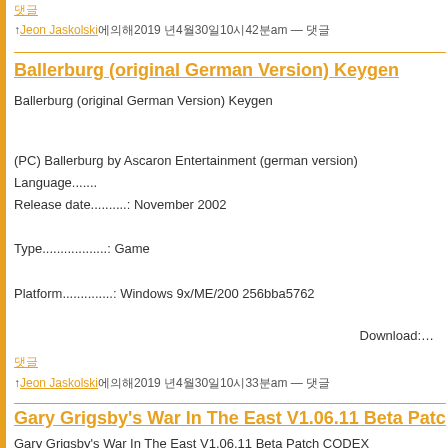댓글
↑Jeon Jaskolski에의해2019 년4월30일10시42분am — 댓글
Ballerburg (original German Version) Keygen
Ballerburg (original German Version) Keygen
(PC) Ballerburg by Ascaron Entertainment (german version) Language.......
Release date..........: November 2002

Type..................: Game

Platform..............: Windows 9x/ME/200 256bba5762
Download:…
댓글
↑Jeon Jaskolski에의해2019 년4월30일10시33분am — 댓글
Gary Grigsby's War In The East V1.06.11 Beta Patch
Gary Grigsby's War In The East V1.06.11 Beta Patch CODEX